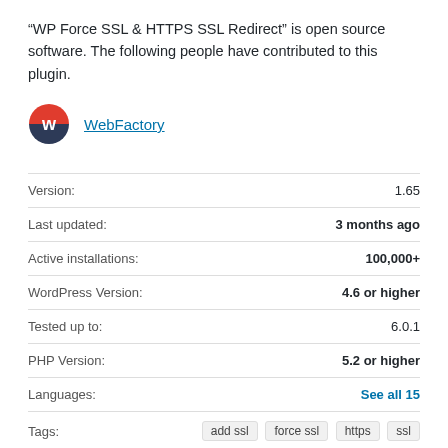“WP Force SSL & HTTPS SSL Redirect” is open source software. The following people have contributed to this plugin.
[Figure (logo): WebFactory logo: circular icon with red top half and dark blue/navy bottom half with a white 'w' letter, next to the text link 'WebFactory']
| Field | Value |
| --- | --- |
| Version: | 1.65 |
| Last updated: | 3 months ago |
| Active installations: | 100,000+ |
| WordPress Version: | 4.6 or higher |
| Tested up to: | 6.0.1 |
| PHP Version: | 5.2 or higher |
| Languages: | See all 15 |
| Tags: | add ssl  force ssl  https  ssl |